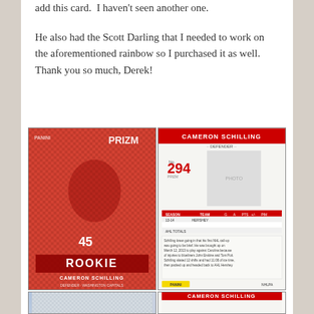add this card.  I haven't seen another one.
He also had the Scott Darling that I needed to work on the aforementioned rainbow so I purchased it as well.  Thank you so much, Derek!
[Figure (photo): Two views of a Cameron Schilling Panini Prizm rookie hockey card — the front (left) shows a red prismatic design with player in Washington Capitals jersey #45, labeled ROOKIE and CAMERON SCHILLING DEFENDER / WASHINGTON CAPITALS; the back (right) shows card #294, player photo, stats, and biographical text panel.]
[Figure (photo): Bottom portion showing two more card images — left appears to be a silver/holographic prizm variant; right shows the back of another Cameron Schilling card with the name visible at top.]